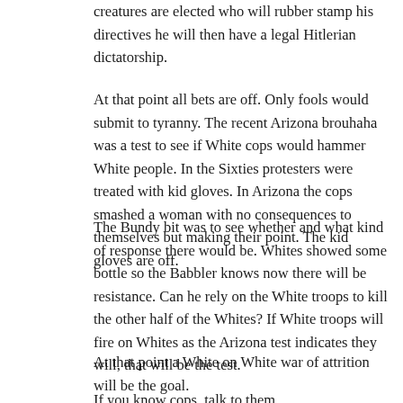creatures are elected who will rubber stamp his directives he will then have a legal Hitlerian dictatorship.
At that point all bets are off. Only fools would submit to tyranny. The recent Arizona brouhaha was a test to see if White cops would hammer White people. In the Sixties protesters were treated with kid gloves. In Arizona the cops smashed a woman with no consequences to themselves but making their point. The kid gloves are off.
The Bundy bit was to see whether and what kind of response there would be. Whites showed some bottle so the Babbler knows now there will be resistance. Can he rely on the White troops to kill the other half of the Whites? If White troops will fire on Whites as the Arizona test indicates they will, that will be the test.
At that point a White on White war of attrition will be the goal.
If you know cops, talk to them.